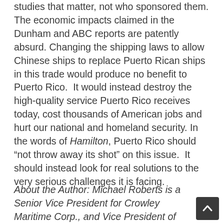studies that matter, not who sponsored them. The economic impacts claimed in the Dunham and ABC reports are patently absurd. Changing the shipping laws to allow Chinese ships to replace Puerto Rican ships in this trade would produce no benefit to Puerto Rico.  It would instead destroy the high-quality service Puerto Rico receives today, cost thousands of American jobs and hurt our national and homeland security. In the words of Hamilton, Puerto Rico should “not throw away its shot” on this issue.  It should instead look for real solutions to the very serious challenges it is facing.
About the Author: Michael Roberts is a Senior Vice President for Crowley Maritime Corp., and Vice President of the American